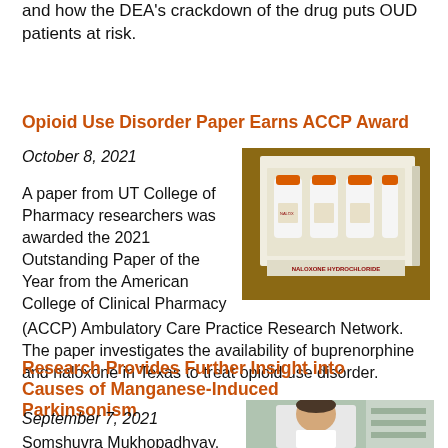and how the DEA's crackdown of the drug puts OUD patients at risk.
Opioid Use Disorder Paper Earns ACCP Award
October 8, 2021
[Figure (photo): Box of Naloxone Hydrochloride vials with orange caps on a wooden surface]
A paper from UT College of Pharmacy researchers was awarded the 2021 Outstanding Paper of the Year from the American College of Clinical Pharmacy (ACCP) Ambulatory Care Practice Research Network. The paper investigates the availability of buprenorphine and naloxone in Texas to treat opioid use disorder.
Research Provides Further Insight into Causes of Manganese-Induced Parkinsonism
September 7, 2021
[Figure (photo): Researcher Somshuvra Mukhopadhyay, M.B.B.S., Ph.D. in a lab coat]
Somshuvra Mukhopadhyay, M.B.B.S., Ph.D., associate